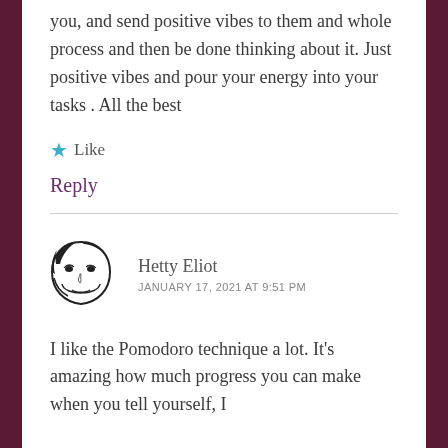you, and send positive vibes to them and whole process and then be done thinking about it. Just positive vibes and pour your energy into your tasks . All the best
★ Like
Reply
Hetty Eliot
JANUARY 17, 2021 AT 9:51 PM
[Figure (illustration): Avatar/profile illustration showing a stylized black and white face sketch]
I like the Pomodoro technique a lot. It's amazing how much progress you can make when you tell yourself, I